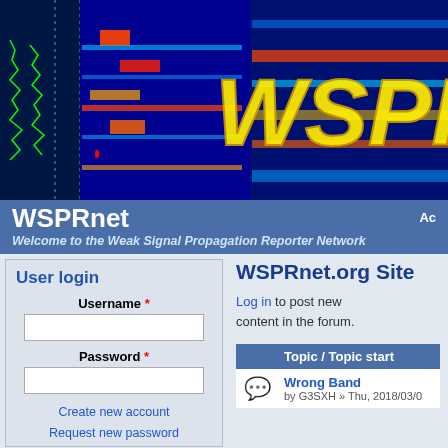[Figure (screenshot): WSPRnet banner image showing waterfall spectrum display with WSPR logo in yellow text on dark blue/cyan background]
WSPRnet
Welcome to the Weak Signal Propagation Reporter Network
User login
Username *
Password *
Create new account
Request new password
Log in
WSPRnet.org Site
Log in to post new content in the forum.
| Topic / Topic start |
| --- |
| Wrong Band | by G3SXH » Thu, 2018/03/0 |